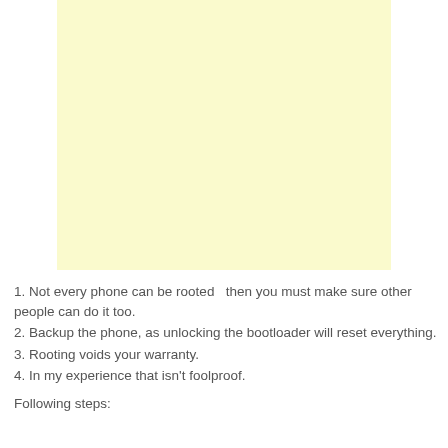[Figure (other): Large light yellow rectangular box, empty, serving as placeholder for an image or content area.]
1. Not every phone can be rooted  then you must make sure other people can do it too.
2. Backup the phone, as unlocking the bootloader will reset everything.
3. Rooting voids your warranty.
4. In my experience that isn't foolproof.
Following steps: